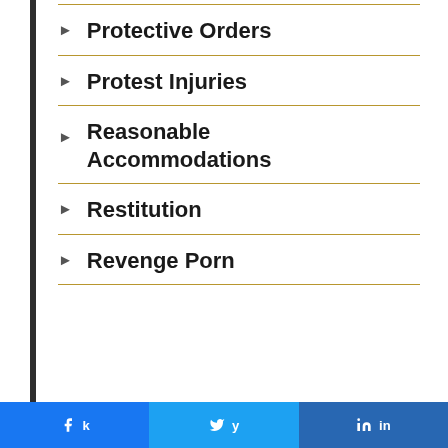Protective Orders
Protest Injuries
Reasonable Accommodations
Restitution
Revenge Porn